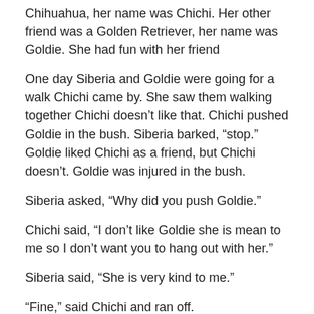Chihuahua, her name was Chichi. Her other friend was a Golden Retriever, her name was Goldie. She had fun with her friend
One day Siberia and Goldie were going for a walk Chichi came by. She saw them walking together Chichi doesn’t like that. Chichi pushed Goldie in the bush. Siberia barked, “stop.” Goldie liked Chichi as a friend, but Chichi doesn’t. Goldie was injured in the bush.
Siberia asked, “Why did you push Goldie.”
Chichi said, “I don’t like Goldie she is mean to me so I don’t want you to hang out with her.”
Siberia said, “She is very kind to me.”
“Fine,” said Chichi and ran off.